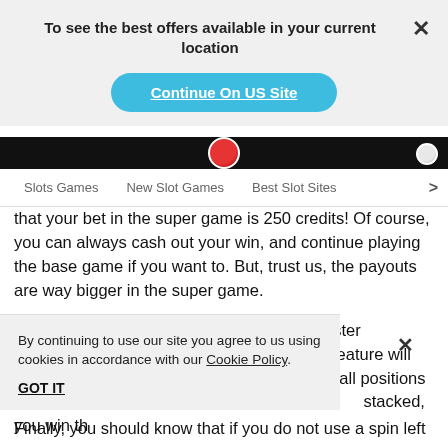To see the best offers available in your current location
Continue On US Site
Slots Games   New Slot Games   Best Slot Sites >
that your bet in the super game is 250 credits! Of course, you can always cash out your win, and continue playing the base game if you want to. But, trust us, the payouts are way bigger in the super game.
When in the super game, you will see the jester appearing stacked. This is when the nudge feature will c[...] ntil all positions a[...] uld you get the je[...] stacked, you win th[...]
By continuing to use our site you agree to us using cookies in accordance with our Cookie Policy.
GOT IT
Finally, you should know that if you do not use a spin left